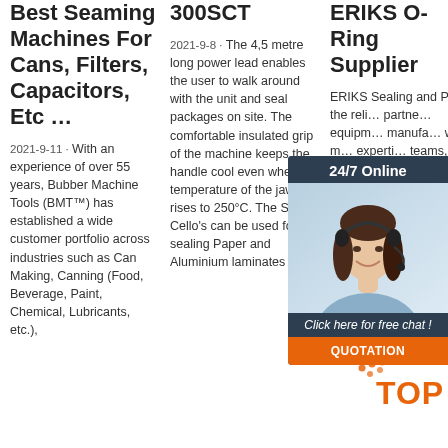Best Seaming Machines For Cans, Filters, Capacitors, Etc …
2021-9-11 · With an experience of over 55 years, Bubber Machine Tools (BMT™) has established a wide customer portfolio across industries such as Can Making, Canning (Food, Beverage, Paint, Chemical, Lubricants, etc.),
300SCT
2021-9-8 · The 4,5 metre long power lead enables the user to walk around with the unit and seal packages on site. The comfortable insulated grip of the machine keeps the handle cool even when the temperature of the jaws rises to 250°C. The Super Cello's can be used for sealing Paper and Aluminium laminates (such
ERIKS O-Ring Supplier
ERIKS Sealing and Po… the reli… partne… equipm… manufa… with m… experti… teams, solutio… quality support… house prototyping facilities. Standard and customer-specific parts. Manufacturer coffee machine View
[Figure (other): Chat widget with woman wearing headset, '24/7 Online' header, 'Click here for free chat!' text, and orange QUOTATION button]
[Figure (logo): TOP logo in orange with orange dots pattern]